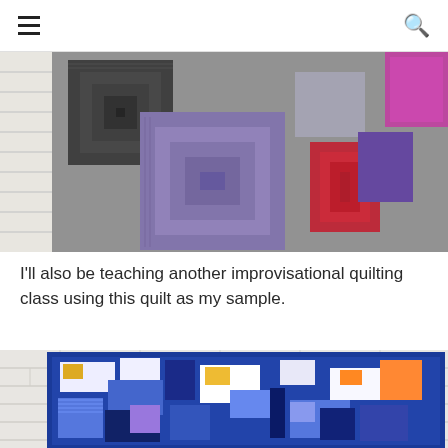≡  🔍
[Figure (photo): Close-up photo of a quilt hanging on a white brick wall, featuring concentric square patterns in dark gray/black, lavender/purple, red, and magenta/pink colors on a gray textured background.]
I'll also be teaching another improvisational quilting class using this quilt as my sample.
[Figure (photo): Photo of a blue and white improvisational quilt hanging on a white brick wall, featuring various shades of blue, white, and colorful patterned fabric pieces arranged in an improvisational patchwork design.]